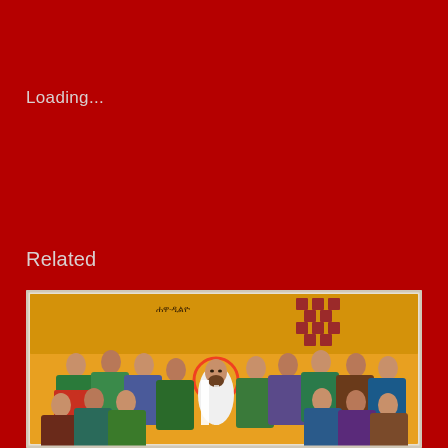Loading...
Related
[Figure (illustration): Ethiopian Orthodox icon painting depicting a religious scene with Jesus Christ surrounded by apostles/disciples, rendered in traditional Ethiopian iconographic style with bold colors — yellow/orange background, figures wearing green, blue, red and white garments with characteristic Ethiopian facial features. A decorative cross pattern is visible in the upper right. Text in Ge'ez script appears in the upper portion of the painting.]